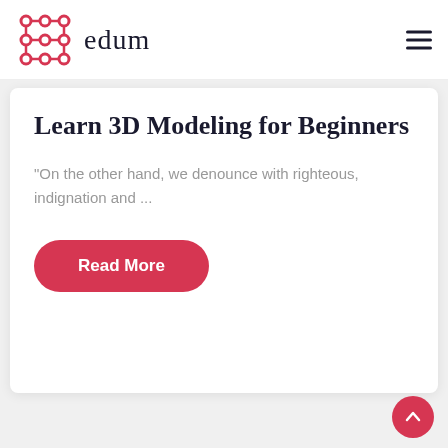[Figure (logo): edum logo with red network/node icon and text 'edum' in dark serif font]
Learn 3D Modeling for Beginners
"On the other hand, we denounce with righteous, indignation and ...
Read More